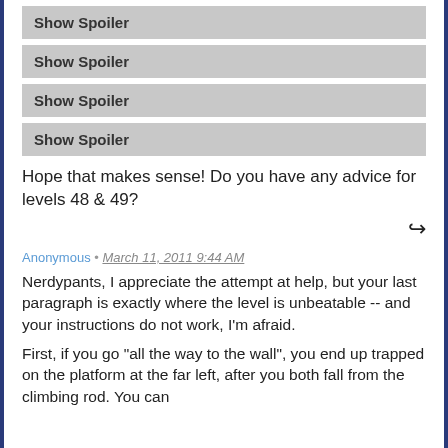Show Spoiler
Show Spoiler
Show Spoiler
Show Spoiler
Hope that makes sense! Do you have any advice for levels 48 & 49?
Anonymous • March 11, 2011 9:44 AM
Nerdypants, I appreciate the attempt at help, but your last paragraph is exactly where the level is unbeatable -- and your instructions do not work, I'm afraid.
First, if you go "all the way to the wall", you end up trapped on the platform at the far left, after you both fall from the climbing rod. You can